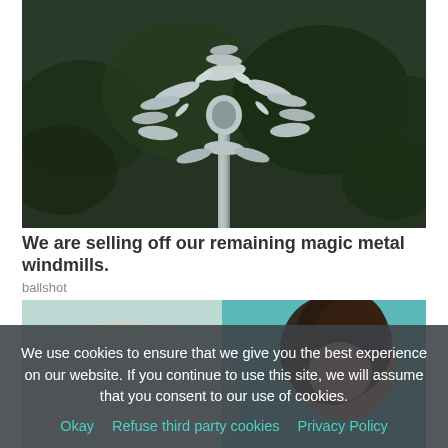[Figure (photo): A decorative metal wind spinner / windmill sculpture with many spinning metal pieces arranged in a tree-like or flower-like pattern, mounted on a pole, with dark green trees in the background.]
We are selling off our remaining magic metal windmills.
ballshot
[Figure (photo): Partial photo showing a person (woman with dark hair) in the foreground, with a blurred teal/turquoise background.]
We use cookies to ensure that we give you the best experience on our website. If you continue to use this site, we will assume that you consent to our use of cookies.
Okay   Refuse third party cookies   Privacy Policy